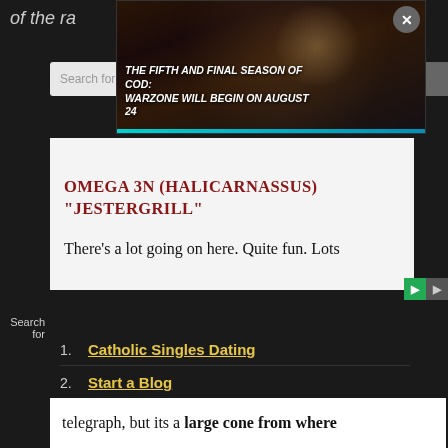of the ra
[Figure (screenshot): Video game advertisement popup showing two characters with text 'THE FIFTH AND FINAL SEASON OF COD: WARZONE WILL BEGIN ON AUGUST 24' with a cyan bar at bottom and close button (X)]
OMEGA 3N (HALICARNASSUS) "JESTERGRILL"
There's a lot going on here. Quite fun. Lots
1. Catholic Singles Dating
2. Start a Blog
telegraph, but its a large cone from where